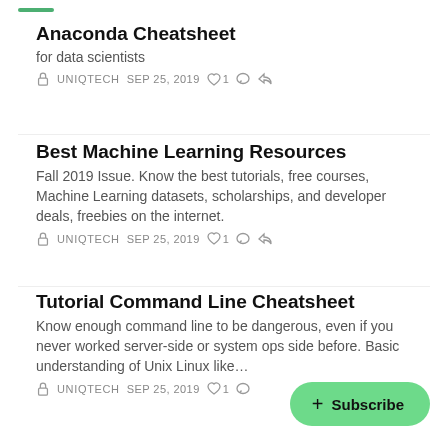Anaconda Cheatsheet
for data scientists
🔒  UNIQTECH   SEP 25, 2019   ♡ 1   💬   ↗
Best Machine Learning Resources
Fall 2019 Issue. Know the best tutorials, free courses, Machine Learning datasets, scholarships, and developer deals, freebies on the internet.
🔒  UNIQTECH   SEP 25, 2019   ♡ 1   💬   ↗
Tutorial Command Line Cheatsheet
Know enough command line to be dangerous, even if you never worked server-side or system ops side before. Basic understanding of Unix Linux like…
🔒  UNIQTECH   SEP 25, 2019   ♡ 1   💬   ↗